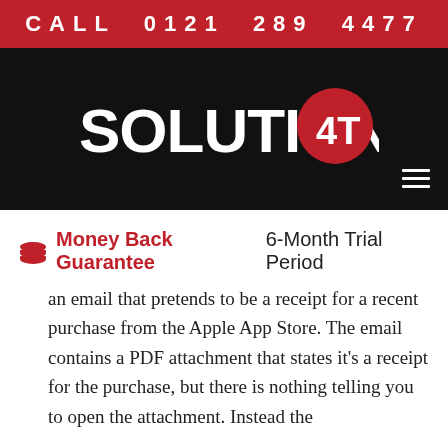CALL 0121 289 4477
[Figure (logo): Solutions 4T logo — white bold text SOLUTIONS with red circle containing white 4T]
Money Back Guarantee 6-Month Trial Period
an email that pretends to be a receipt for a recent purchase from the Apple App Store. The email contains a PDF attachment that states it's a receipt for the purchase, but there is nothing telling you to open the attachment. Instead the